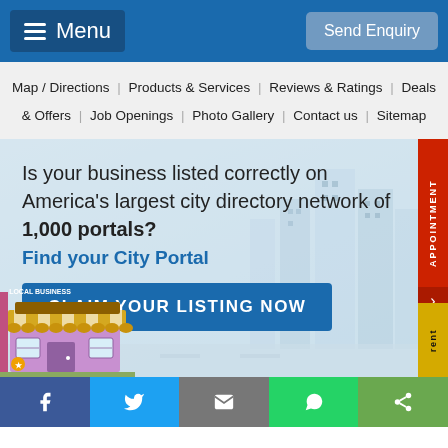Menu | Send Enquiry
Map / Directions | Products & Services | Reviews & Ratings | Deals & Offers | Job Openings | Photo Gallery | Contact us | Sitemap
Is your business listed correctly on America's largest city directory network of 1,000 portals? Find your City Portal
CLAIM YOUR LISTING NOW
[Figure (illustration): Local business storefront illustration with striped awning]
Facebook | Twitter | Email | WhatsApp | Share